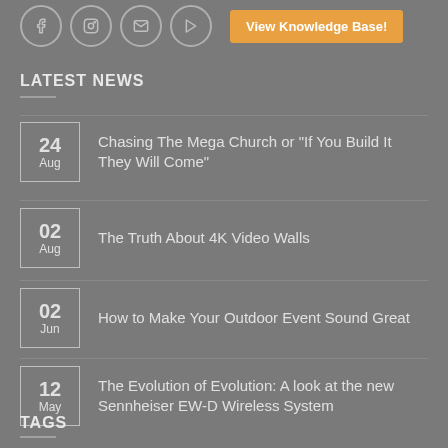View Knowledge Base!
LATEST NEWS
24 Aug — Chasing The Mega Church or “If You Build It They Will Come”
02 Aug — The Truth About 4K Video Walls
02 Jun — How to Make Your Outdoor Event Sound Great
12 May — The Evolution of Evolution: A look at the new Sennheiser EW-D Wireless System
TAGS